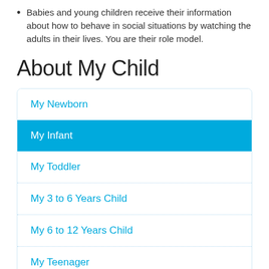Babies and young children receive their information about how to behave in social situations by watching the adults in their lives. You are their role model.
About My Child
My Newborn
My Infant
My Toddler
My 3 to 6 Years Child
My 6 to 12 Years Child
My Teenager